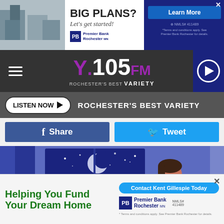[Figure (screenshot): Top advertisement banner for Premier Bank Rochester: 'BIG PLANS? Let's get started!' with Learn More button on dark blue background]
[Figure (logo): Y.105FM Rochester's Best Variety radio station logo with navigation bar, hamburger menu and play button]
LISTEN NOW  ROCHESTER'S BEST VARIETY
[Figure (infographic): Social media sharing buttons: Facebook Share (dark blue) and Twitter Tweet (light blue)]
[Figure (illustration): Illustration of a man sitting up in bed at night, unable to sleep, with a window showing a crescent moon and stars in a dark blue night sky]
[Figure (screenshot): Bottom advertisement banner: 'Helping You Fund Your Dream Home' with Contact Kent Gillespie Today button and Premier Bank Rochester logo, NMLS# 411489]